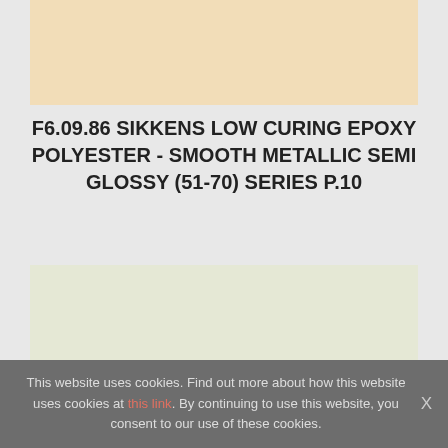[Figure (other): Color swatch block - warm beige/tan color sample at top of page]
F6.09.86 SIKKENS LOW CURING EPOXY POLYESTER - SMOOTH METALLIC SEMI GLOSSY (51-70) SERIES P.10
[Figure (other): Color swatch block - pale green/cream color sample in lower portion of page]
This website uses cookies. Find out more about how this website uses cookies at this link. By continuing to use this website, you consent to our use of these cookies.